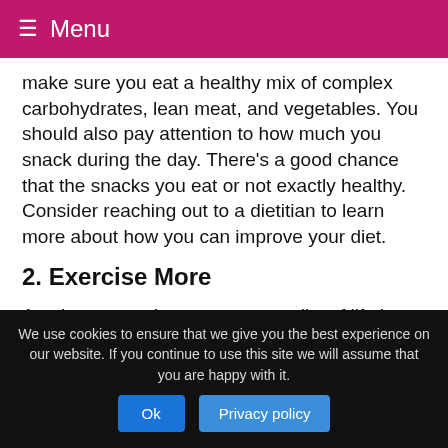Menu
make sure you eat a healthy mix of complex carbohydrates, lean meat, and vegetables. You should also pay attention to how much you snack during the day. There's a good chance that the snacks you eat or not exactly healthy. Consider reaching out to a dietitian to learn more about how you can improve your diet.
2. Exercise More
Another way to improve your quality of life is to exercise more. You may feel like you do not have time to exercise, but if you wait for a time slot to open up, you will never get
We use cookies to ensure that we give you the best experience on our website. If you continue to use this site we will assume that you are happy with it.